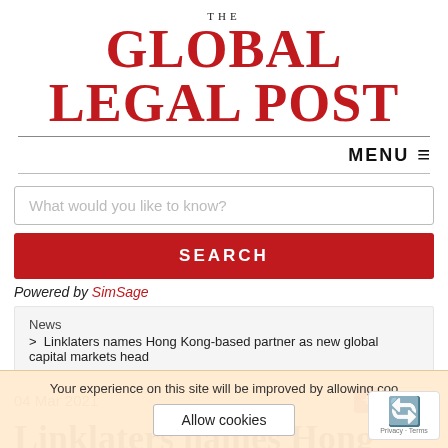[Figure (logo): The Global Legal Post masthead logo in red serif font with 'THE' above in small caps]
MENU ≡
What would you like to know?
SEARCH
Powered by SimSage
News > Linklaters names Hong Kong-based partner as new global capital markets head
04 Mar 2021
Linklaters names Hong
Your experience on this site will be improved by allowing coo
Allow cookies